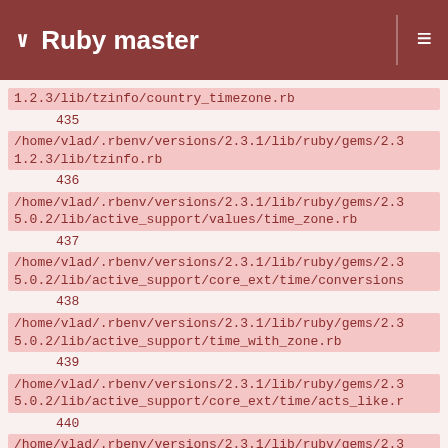Ruby master
1.2.3/lib/tzinfo/country_timezone.rb
    435
/home/vlad/.rbenv/versions/2.3.1/lib/ruby/gems/2.3/1.2.3/lib/tzinfo.rb
    436
/home/vlad/.rbenv/versions/2.3.1/lib/ruby/gems/2.3/5.0.2/lib/active_support/values/time_zone.rb
    437
/home/vlad/.rbenv/versions/2.3.1/lib/ruby/gems/2.3/5.0.2/lib/active_support/core_ext/time/conversions
    438
/home/vlad/.rbenv/versions/2.3.1/lib/ruby/gems/2.3/5.0.2/lib/active_support/time_with_zone.rb
    439
/home/vlad/.rbenv/versions/2.3.1/lib/ruby/gems/2.3/5.0.2/lib/active_support/core_ext/time/acts_like.r
    440
/home/vlad/.rbenv/versions/2.3.1/lib/ruby/gems/2.3/5.0.2/lib/active_support/core_ext/date_and_time/zo
    441
/home/vlad/.rbenv/versions/2.3.1/lib/ruby/gems/2.3/5.0.2/lib/active_support/core_ext/time/zones.rb
    442
/home/vlad/.rbenv/versions/2.3.1/lib/ruby/gems/2.3/